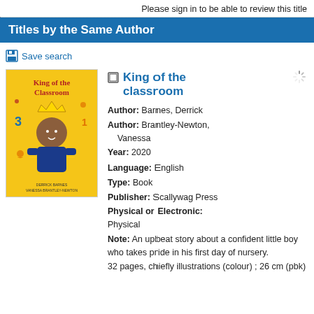Please sign in to be able to review this title
Titles by the Same Author
Save search
[Figure (illustration): Book cover for 'King of the Classroom' showing a child in a crown and royal outfit on a yellow background with numbers]
King of the classroom
Author: Barnes, Derrick
Author: Brantley-Newton, Vanessa
Year: 2020
Language: English
Type: Book
Publisher: Scallywag Press
Physical or Electronic: Physical
Note: An upbeat story about a confident little boy who takes pride in his first day of nursery.
32 pages, chiefly illustrations (colour) ; 26 cm (pbk)